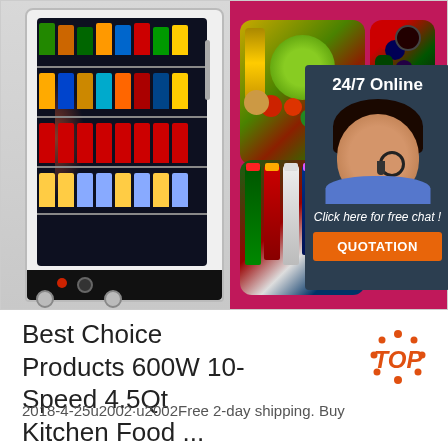[Figure (photo): Composite product/e-commerce image. Left: commercial glass-door refrigerator filled with colorful beverage bottles on multiple shelves. Right: dark pink/magenta background with two food thumbnail images (vegetables, berries) and one image of colorful glass bottles. Overlaid chat widget with '24/7 Online' heading, a female customer service agent with headset, 'Click here for free chat!' text, and an orange 'QUOTATION' button.]
Best Choice Products 600W 10-Speed 4.5Qt Kitchen Food ...
2018-4-25u2002·u2002Free 2-day shipping. Buy